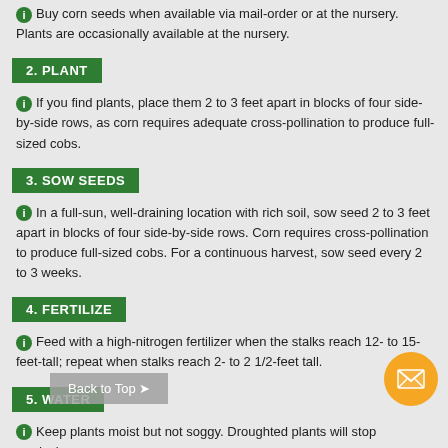Buy corn seeds when available via mail-order or at the nursery. Plants are occasionally available at the nursery.
2. PLANT
If you find plants, place them 2 to 3 feet apart in blocks of four side-by-side rows, as corn requires adequate cross-pollination to produce full-sized cobs.
3. SOW SEEDS
In a full-sun, well-draining location with rich soil, sow seed 2 to 3 feet apart in blocks of four side-by-side rows. Corn requires cross-pollination to produce full-sized cobs. For a continuous harvest, sow seed every 2 to 3 weeks.
4. FERTILIZE
Feed with a high-nitrogen fertilizer when the stalks reach 12- to 15-feet-tall; repeat when stalks reach 2- to 2 1/2-feet tall.
5. WATER
Keep plants moist but not soggy. Droughted plants will stop producing.
6. MULCH